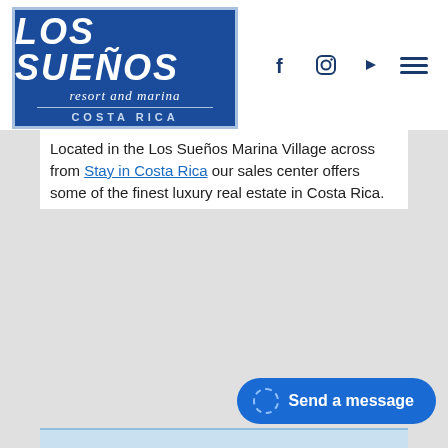[Figure (logo): Los Sueños Resort and Marina, Costa Rica logo — white text on dark blue background with decorative border]
Located in the Los Sueños Marina Village across from Stay in Costa Rica our sales center offers some of the finest luxury real estate in Costa Rica.
[Figure (photo): Grid of 6 resort photos: tropical garden path, luxury bedroom with ocean view, aerial pool/greenery, modern lobby interior, resort pool terrace, sunset through palm trees]
Send a message